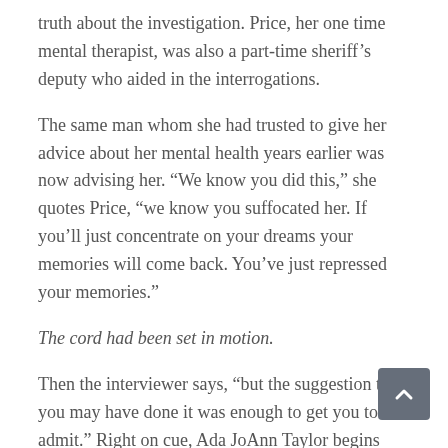truth about the investigation. Price, her one time mental therapist, was also a part-time sheriff’s deputy who aided in the interrogations.
The same man whom she had trusted to give her advice about her mental health years earlier was now advising her. “We know you did this,” she quotes Price, “we know you suffocated her. If you’ll just concentrate on your dreams your memories will come back. You’ve just repressed your memories.”
The cord had been set in motion.
Then the interviewer says, “but the suggestion that you may have done it was enough to get you to admit.” Right on cue, Ada JoAnn Taylor begins repeating, verbatim what the interviewer is saying, immediately after s says it. It is almost as if the interviewer is now doing the